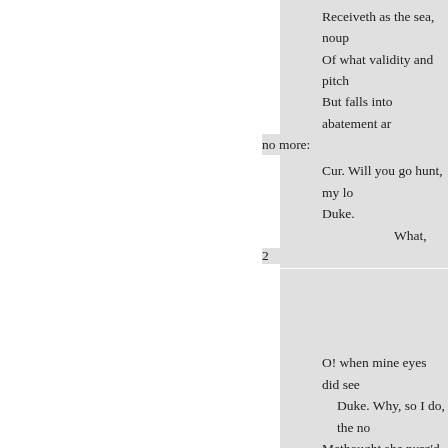Receiveth as the sea, noup
Of what validity and pitch
But falls into abatement ar
Even in a minute! so full o
That it alone is high-fantas
no more:
Cur. Will you go hunt, my l
Duke.
                What, Curio?
2
O! when mine eyes did see
Duke. Why, so I do, the no
Methought she purg'd the a
That instant was I turn'd int
And my desires, like fell an
E'er since pursue me.-How